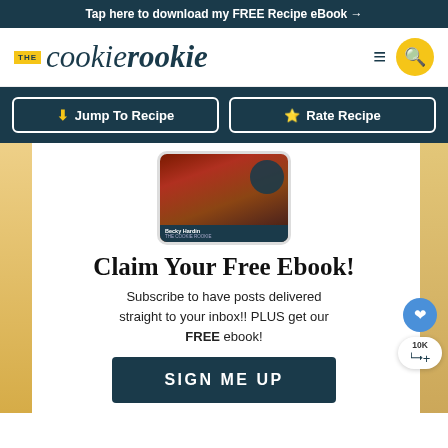Tap here to download my FREE Recipe eBook →
[Figure (logo): The Cookie Rookie logo with yellow THE badge, italic cookie in serif font, bold italic rookie in serif font, hamburger menu icon, yellow circle search icon]
↓ Jump To Recipe
★ Rate Recipe
[Figure (photo): Preview of ebook cover showing a grilled steak with Becky Hardin The Cookie Rookie author credit, dark navy overlay at bottom]
Claim Your Free Ebook!
Subscribe to have posts delivered straight to your inbox!! PLUS get our FREE ebook!
SIGN ME UP